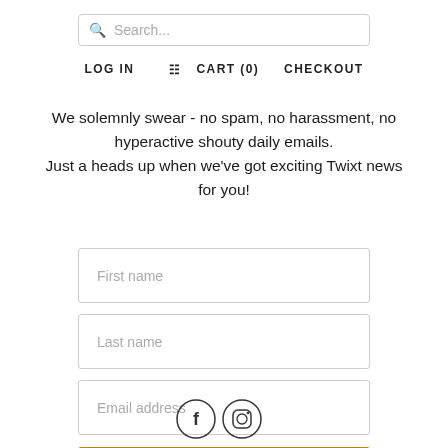Search...  LOG IN  CART (0)  CHECKOUT
We solemnly swear - no spam, no harassment, no hyperactive shouty daily emails.
Just a heads up when we've got exciting Twixt news for you!
[Figure (screenshot): Sign-up form with First name, Last name, Email address input fields and a golden SIGN UP button]
[Figure (infographic): Facebook and Instagram social media icons at the bottom of the page]